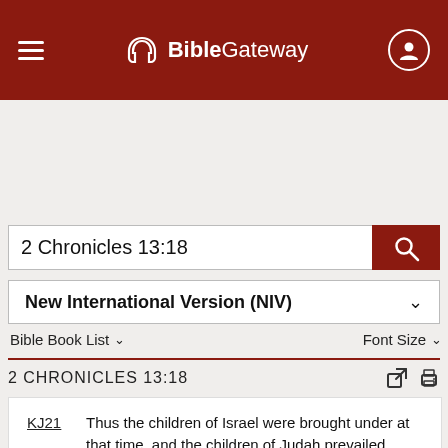BibleGateway
2 Chronicles 13:18
New International Version (NIV)
Bible Book List    Font Size
2 CHRONICLES 13:18
KJ21  Thus the children of Israel were brought under at that time, and the children of Judah prevailed because they relied upon the LORD God of their